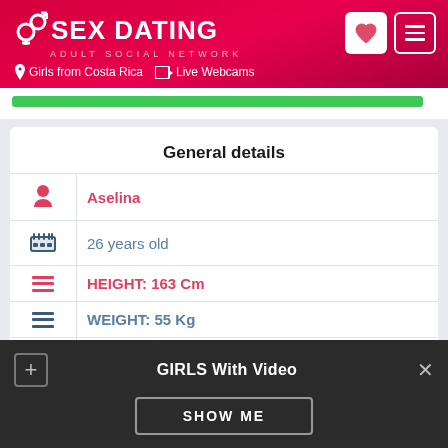SEX DATING ADULT SOCIAL NETWORK — Girls from Costa Rica | Live Webcams
General details
| Icon | Value |
| --- | --- |
| person | Aselina |
| cake | 26 years old |
| lines | HEIGHT: 163 Cm |
| lines | WEIGHT: 55 Kg |
| pin | Canas |
| heart | Costa Rica |
GIRLS With Video
SHOW ME